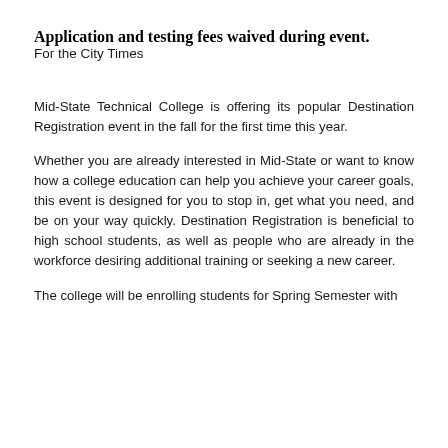Application and testing fees waived during event.
For the City Times
Mid-State Technical College is offering its popular Destination Registration event in the fall for the first time this year.
Whether you are already interested in Mid-State or want to know how a college education can help you achieve your career goals, this event is designed for you to stop in, get what you need, and be on your way quickly. Destination Registration is beneficial to high school students, as well as people who are already in the workforce desiring additional training or seeking a new career.
The college will be enrolling students for Spring Semester with